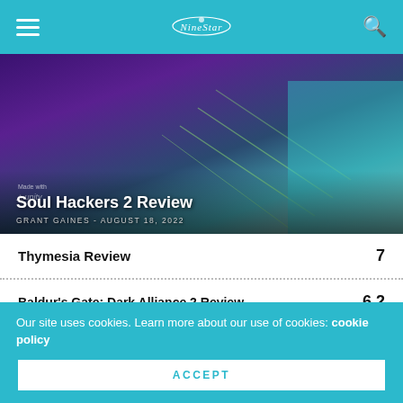NineStar (logo) — hamburger menu and search
[Figure (photo): Hero image for Soul Hackers 2 Review — dark purple and teal game art with character]
Soul Hackers 2 Review
GRANT GAINES - AUGUST 18, 2022
Thymesia Review  7
Baldur's Gate: Dark Alliance 2 Review  6.2
Sword And Fairy: Together Forever Review  7
Our site uses cookies. Learn more about our use of cookies: cookie policy
ACCEPT